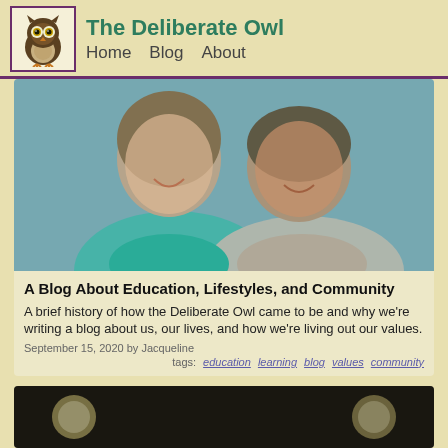The Deliberate Owl
Home   Blog   About
[Figure (photo): A smiling couple cheek to cheek, woman in teal shirt on left, man in floral shirt on right, light blue background]
A Blog About Education, Lifestyles, and Community
A brief history of how the Deliberate Owl came to be and why we're writing a blog about us, our lives, and how we're living out our values.
September 15, 2020 by Jacqueline
tags: education learning blog values community
[Figure (photo): Partial view of a second article image, dark interior scene]